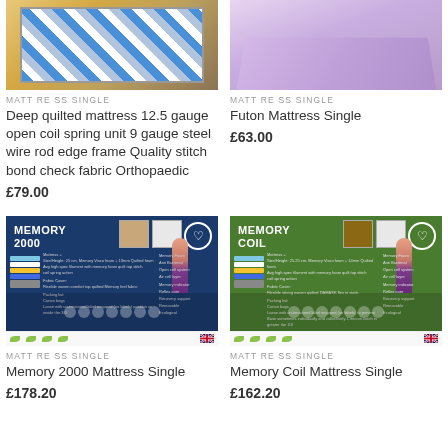[Figure (photo): Deep quilted mattress with blue check fabric on wooden floor]
MATTRESS SINGLE
Deep quilted mattress 12.5 gauge open coil spring unit 9 gauge steel wire rod edge frame Quality stitch bond check fabric Orthopaedic
£79.00
[Figure (photo): Purple/lilac futon mattress]
MATTRESS SINGLE
Futon Mattress Single
£63.00
[Figure (photo): Memory 2000 mattress product banner with blue background showing mattress layers and specifications]
MATTRESS SINGLE
Memory 2000 Mattress Single
£178.20
[Figure (photo): Memory Coil mattress product banner with green background showing mattress layers and specifications]
MATTRESS SINGLE
Memory Coil Mattress Single
£162.20